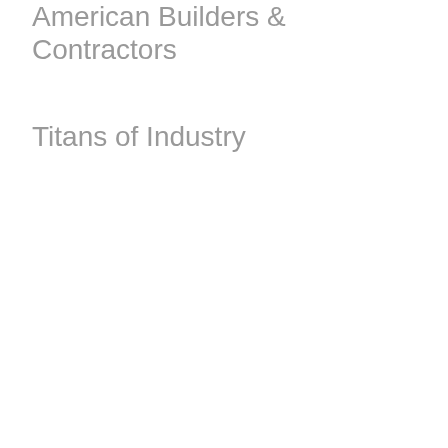American Builders & Contractors
Titans of Industry